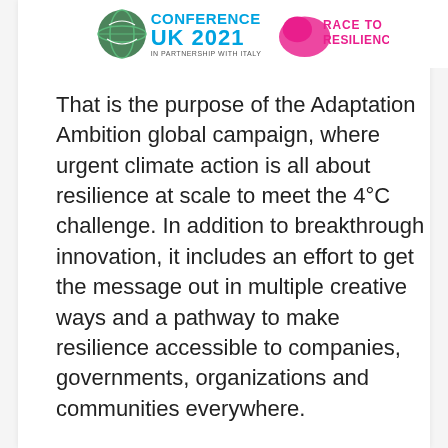[Figure (logo): COP26 Conference UK 2021 in partnership with Italy logo and Race to Resilience logo side by side at top of page]
That is the purpose of the Adaptation Ambition global campaign, where urgent climate action is all about resilience at scale to meet the 4°C challenge. In addition to breakthrough innovation, it includes an effort to get the message out in multiple creative ways and a pathway to make resilience accessible to companies, governments, organizations and communities everywhere.